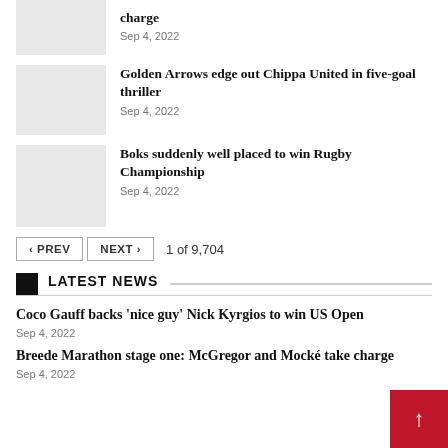[Figure (photo): Thumbnail image placeholder (gray rectangle) for article about charge]
charge
Sep 4, 2022
[Figure (photo): Thumbnail image placeholder (gray rectangle) for Golden Arrows article]
Golden Arrows edge out Chippa United in five-goal thriller
Sep 4, 2022
[Figure (photo): Thumbnail image placeholder (gray rectangle) for Boks article]
Boks suddenly well placed to win Rugby Championship
Sep 4, 2022
PREV  NEXT  1 of 9,704
LATEST NEWS
Coco Gauff backs 'nice guy' Nick Kyrgios to win US Open
Sep 4, 2022
Breede Marathon stage one: McGregor and Mocké take charge
Sep 4, 2022